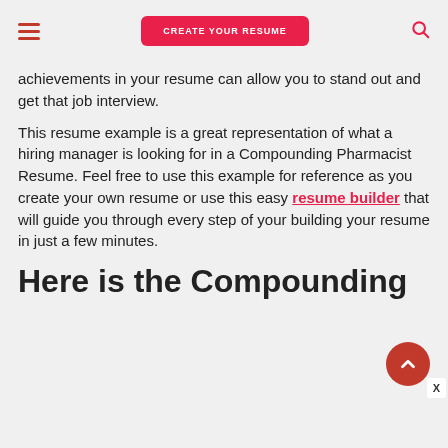CREATE YOUR RESUME
achievements in your resume can allow you to stand out and get that job interview.
This resume example is a great representation of what a hiring manager is looking for in a Compounding Pharmacist Resume. Feel free to use this example for reference as you create your own resume or use this easy resume builder that will guide you through every step of your building your resume in just a few minutes.
Here is the Compounding